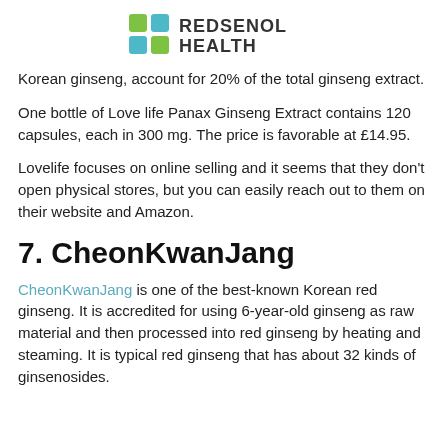[Figure (logo): Redsenol Health logo with green and teal square icons and bold text REDSENOL HEALTH]
Korean ginseng, account for 20% of the total ginseng extract.
One bottle of Love life Panax Ginseng Extract contains 120 capsules, each in 300 mg. The price is favorable at £14.95.
Lovelife focuses on online selling and it seems that they don't open physical stores, but you can easily reach out to them on their website and Amazon.
7. CheonKwanJang
CheonKwanJang is one of the best-known Korean red ginseng. It is accredited for using 6-year-old ginseng as raw material and then processed into red ginseng by heating and steaming. It is typical red ginseng that has about 32 kinds of ginsenosides.